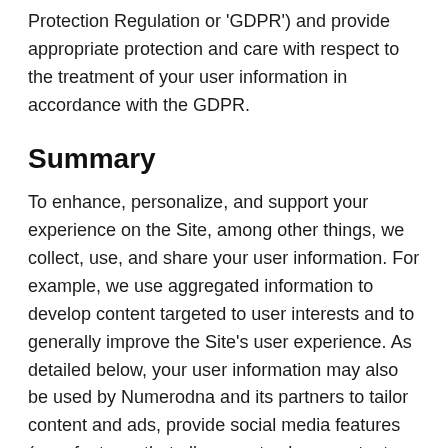Protection Regulation or 'GDPR') and provide appropriate protection and care with respect to the treatment of your user information in accordance with the GDPR.
Summary
To enhance, personalize, and support your experience on the Site, among other things, we collect, use, and share your user information. For example, we use aggregated information to develop content targeted to user interests and to generally improve the Site's user experience. As detailed below, your user information may also be used by Numerodna and its partners to tailor content and ads, provide social media features (e.g., features that allow you to share content directly to your preferred social media platform), track your